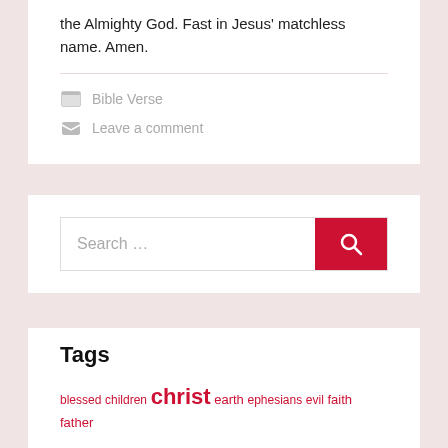the Almighty God. Fast in Jesus' matchless name. Amen.
Bible Verse
Leave a comment
[Figure (other): Search bar with red search button and magnifying glass icon]
Tags
blessed children christ earth ephesians evil faith father fear forever glory god good grace he heart heaven